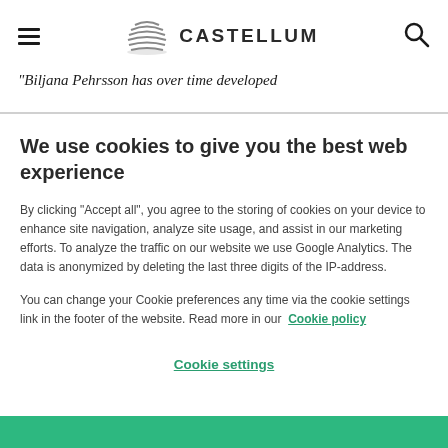Castellum logo and navigation
“Biljana Pehrsson has over time developed
We use cookies to give you the best web experience
By clicking “Accept all”, you agree to the storing of cookies on your device to enhance site navigation, analyze site usage, and assist in our marketing efforts. To analyze the traffic on our website we use Google Analytics. The data is anonymized by deleting the last three digits of the IP-address.
You can change your Cookie preferences any time via the cookie settings link in the footer of the website. Read more in our  Cookie policy
Cookie settings